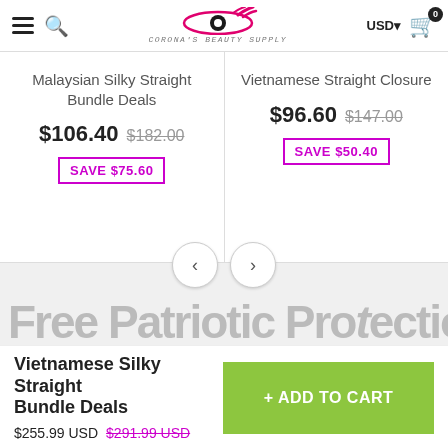Corona's Beauty Supply — USD — Cart (0)
Malaysian Silky Straight Bundle Deals
$106.40  $182.00  SAVE $75.60
Vietnamese Straight Closure
$96.60  $147.00  SAVE $50.40
Free Patriotic Promotions (partial, truncated)
Vietnamese Silky Straight Bundle Deals
$255.99 USD  $291.99 USD
+ ADD TO CART